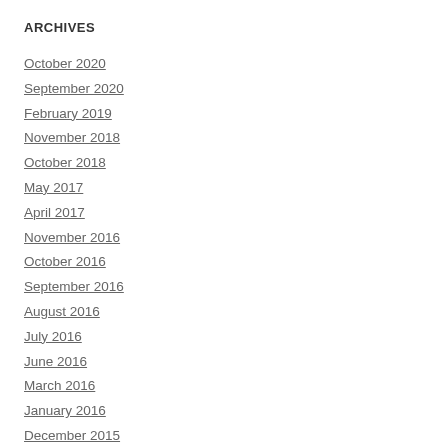ARCHIVES
October 2020
September 2020
February 2019
November 2018
October 2018
May 2017
April 2017
November 2016
October 2016
September 2016
August 2016
July 2016
June 2016
March 2016
January 2016
December 2015
November 2015